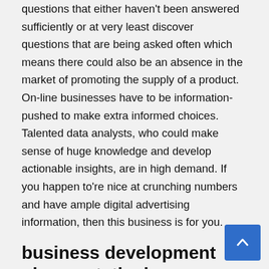questions that either haven't been answered sufficiently or at very least discover questions that are being asked often which means there could also be an absence in the market of promoting the supply of a product. On-line businesses have to be information-pushed to make extra informed choices. Talented data analysts, who could make sense of huge knowledge and develop actionable insights, are in high demand. If you happen to're nice at crunching numbers and have ample digital advertising information, then this business is for you.
business development plans ppt, the lean startup pdf github